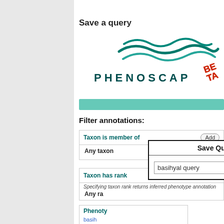Save a query
[Figure (logo): PhenoScape logo with teal wave graphic and text PHENOSCAPE with BETA tag]
Filter annotations:
| Taxon is member of | Add |
| --- | --- |
| Any taxon |  |
| Taxon has rank | Add |
| --- | --- |
| Specifying taxon rank returns inferred phenotype annotations... |  |
| Any rank |  |
| Phenotype |  |
| --- | --- |
| basihyal ... |  |
| incl... |  |
Save Query as
basihyal query